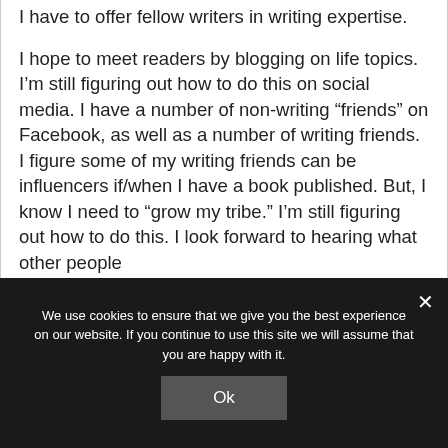I have to offer fellow writers in writing expertise.
I hope to meet readers by blogging on life topics. I’m still figuring out how to do this on social media. I have a number of non-writing “friends” on Facebook, as well as a number of writing friends. I figure some of my writing friends can be influencers if/when I have a book published. But, I know I need to “grow my tribe.” I’m still figuring out how to do this. I look forward to hearing what other people
We use cookies to ensure that we give you the best experience on our website. If you continue to use this site we will assume that you are happy with it.